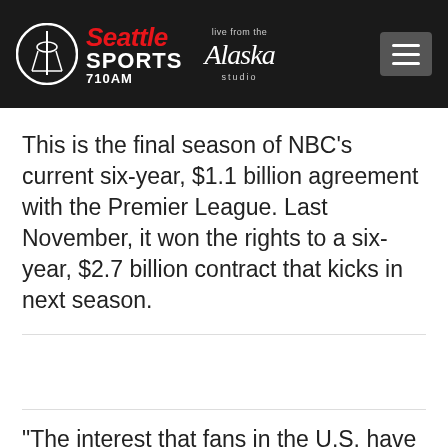[Figure (logo): Seattle Sports 710AM radio station logo with Alaska Airlines 'Live from the Alaska studio' branding and hamburger menu button on dark background]
This is the final season of NBC's current six-year, $1.1 billion agreement with the Premier League. Last November, it won the rights to a six-year, $2.7 billion contract that kicks in next season.
“The interest that fans in the U.S. have in the Premier League is amazing. When we went to the Kentucky Derby, we had fans from abroad